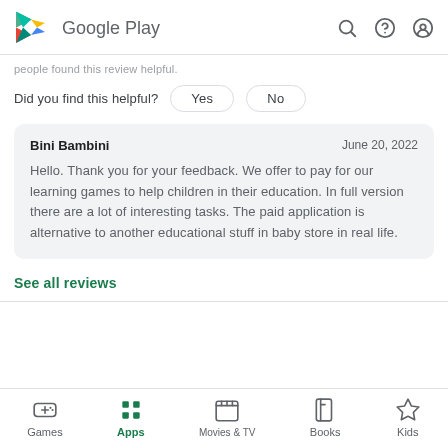Google Play
people found this review helpful.
Did you find this helpful? Yes No
Bini Bambini
June 20, 2022
Hello. Thank you for your feedback. We offer to pay for our learning games to help children in their education. In full version there are a lot of interesting tasks. The paid application is alternative to another educational stuff in baby store in real life.
See all reviews
Games Apps Movies & TV Books Kids